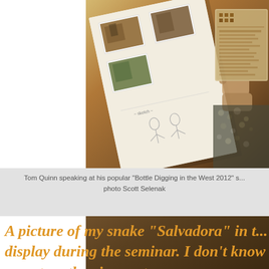[Figure (photo): Photo of Tom Quinn speaking at his 'Bottle Digging in the West 2012' seminar, showing an album with historical photographs and sketches on display, with a person holding something in the background.]
Tom Quinn speaking at his popular "Bottle Digging in the West 2012" s... photo Scott Selenak
A picture of my snake "Salvadora" in t... display during the seminar. I don't know or not on the circumstances surrounding... bottle with the snake inside or not. It ca... a circa 1880's-90's privy, stopper stuck...